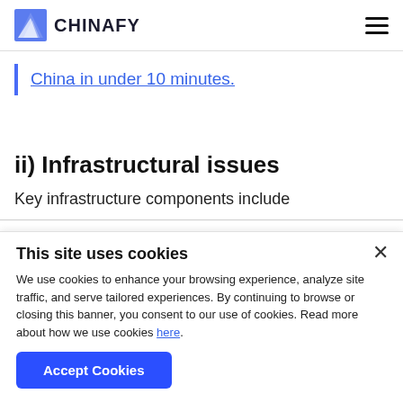CHINAFY
China in under 10 minutes.
ii) Infrastructural issues
Key infrastructure components include
This site uses cookies
We use cookies to enhance your browsing experience, analyze site traffic, and serve tailored experiences. By continuing to browse or closing this banner, you consent to our use of cookies. Read more about how we use cookies here.
Accept Cookies